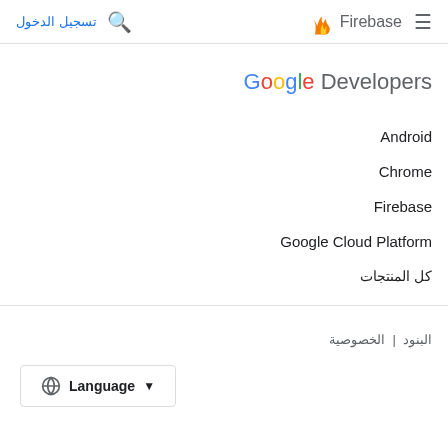تسجيل الدخول  🔍  Firebase  ☰
Google Developers
Android
Chrome
Firebase
Google Cloud Platform
كل المنتجات
البنود  |  الخصوصية
▾ Language 🌐